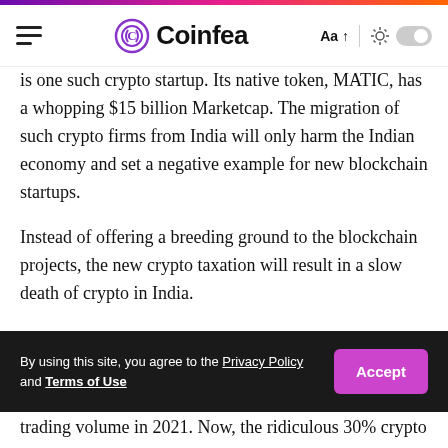Coinfea
is one such crypto startup. Its native token, MATIC, has a whopping $15 billion Marketcap. The migration of such crypto firms from India will only harm the Indian economy and set a negative example for new blockchain startups.
Instead of offering a breeding ground to the blockchain projects, the new crypto taxation will result in a slow death of crypto in India.
The Aftermath of new Crypto Tax
The total crypto assets held by India are worth $5.3
By using this site, you agree to the Privacy Policy and Terms of Use
trading volume in 2021. Now, the ridiculous 30% crypto